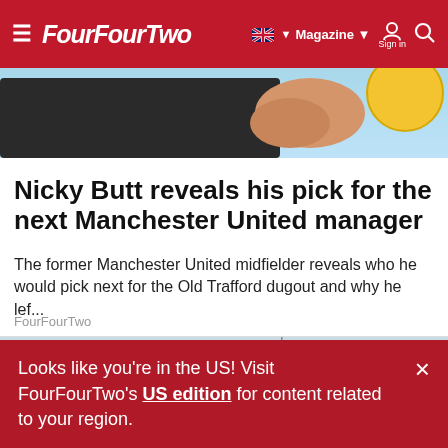FourFourTwo — Magazine · Sign in
[Figure (photo): Top portion of an article image showing a person in a dark jacket against a light blue background, partially cropped]
Nicky Butt reveals his pick for the next Manchester United manager
The former Manchester United midfielder reveals who he would pick next for the Old Trafford dugout and why he lef...
FourFourTwo
[Figure (photo): Cars in a parking lot or car yard, dusty vehicles viewed from behind, grey sky]
Looks like you're in the US! Visit FourFourTwo's US edition for content related to your region.